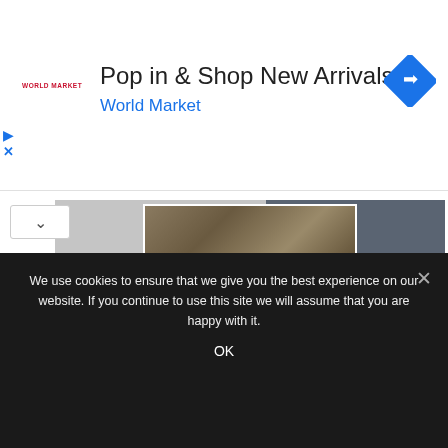[Figure (screenshot): World Market advertisement banner: 'Pop in & Shop New Arrivals' with World Market branding, logo, and blue diamond navigation icon]
[Figure (photo): Partial view of a course cover image showing 'SKYSCRAPER DESIGN' text on a gray and dark gray background with a photo thumbnail at top]
How to Design Affordable Housing | Online Course
We use cookies to ensure that we give you the best experience on our website. If you continue to use this site we will assume that you are happy with it.
OK